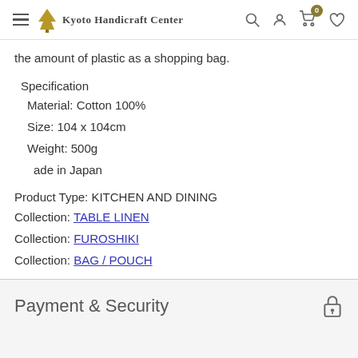Kyoto Handicraft Center
the amount of plastic as a shopping bag.
Specification
Material: Cotton 100%
Size: 104 x 104cm
Weight: 500g
ade in Japan
Product Type: KITCHEN AND DINING
Collection: TABLE LINEN
Collection: FUROSHIKI
Collection: BAG / POUCH
Payment & Security